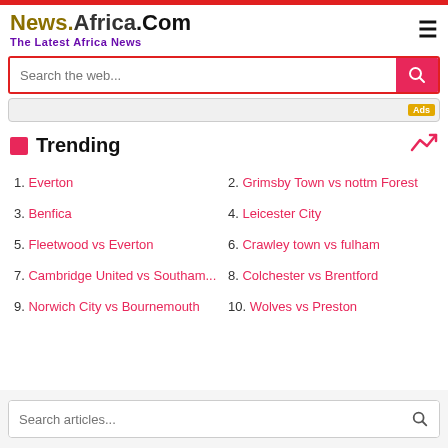News.Africa.Com — The Latest Africa News
Search the web...
Trending
1. Everton
2. Grimsby Town vs nottm Forest
3. Benfica
4. Leicester City
5. Fleetwood vs Everton
6. Crawley town vs fulham
7. Cambridge United vs Southam...
8. Colchester vs Brentford
9. Norwich City vs Bournemouth
10. Wolves vs Preston
Search articles...